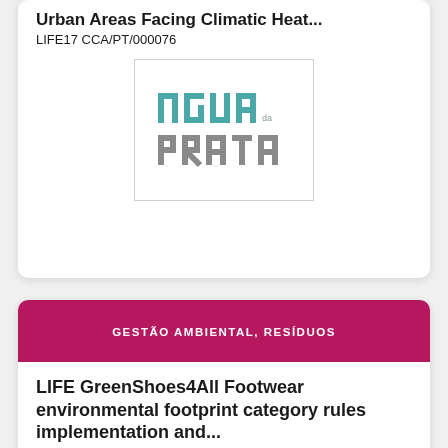Urban Areas Facing Climatic Heat...
LIFE17 CCA/PT/000076
[Figure (logo): NGUA DA PRATA logo — stylized letters in teal and grey]
GESTÃO AMBIENTAL, RESÍDUOS
LIFE GreenShoes4All Footwear environmental footprint category rules implementation and...
LIFE17 ENV/PT/000337